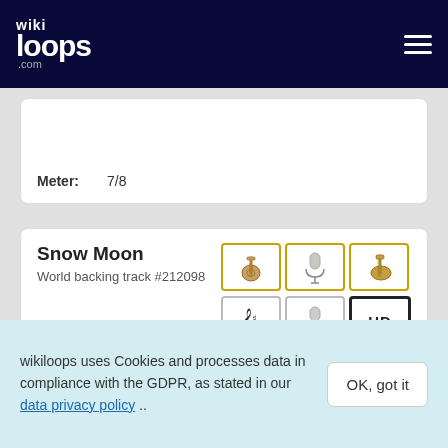wikiloops.com
Meter: 7/8
Snow Moon
World backing track #212098
[Figure (illustration): Three instrument icons (acoustic guitar, microphone, electric guitar/bass) in gold-bordered boxes, and three smaller icons (sheet music, microphone, HD badge) in grey-bordered boxes]
Meter: 4/4
Tempo: 82 BPM
Musical key: A minor
wikiloops uses Cookies and processes data in compliance with the GDPR, as stated in our data privacy policy ..